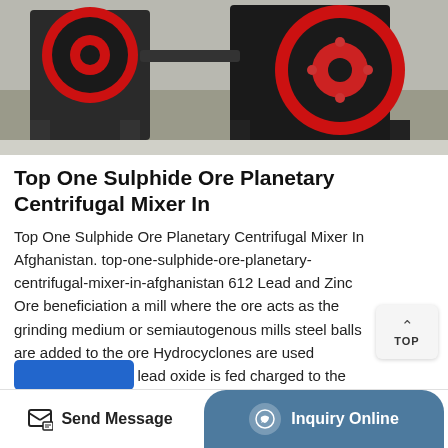[Figure (photo): Industrial red and black planetary centrifugal mixer machine photographed outdoors on ground]
Top One Sulphide Ore Planetary Centrifugal Mixer In
Top One Sulphide Ore Planetary Centrifugal Mixer In Afghanistan. top-one-sulphide-ore-planetary-centrifugal-mixer-in-afghanistan 612 Lead and Zinc Ore beneficiation a mill where the ore acts as the grinding medium or semiautogenous mills steel balls are added to the ore Hydrocyclones are used between each ore lead oxide is fed charged to the top of the blast furnace along with coke fluxes and ...
Send Message | Inquiry Online